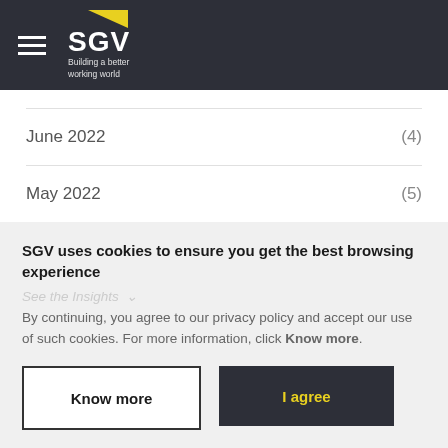SGV — Building a better working world
(partial row cut off at top)
June 2022  (4)
May 2022   (5)
April 2022 (4)
SGV uses cookies to ensure you get the best browsing experience
By continuing, you agree to our privacy policy and accept our use of such cookies. For more information, click Know more.
Know more | I agree